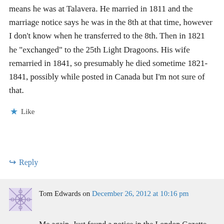means he was at Talavera. He married in 1811 and the marriage notice says he was in the 8th at that time, however I don't know when he transferred to the 8th. Then in 1821 he "exchanged" to the 25th Light Dragoons. His wife remarried in 1841, so presumably he died sometime 1821-1841, possibly while posted in Canada but I'm not sure of that.
Like
Reply
Tom Edwards on December 26, 2012 at 10:16 pm
Me again. Just found a notice in the London Gazette, dated 16 Feb 1811, where